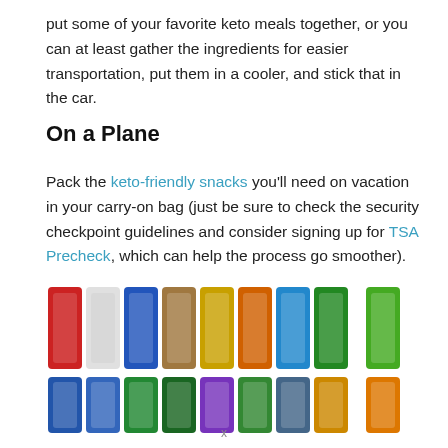put some of your favorite keto meals together, or you can at least gather the ingredients for easier transportation, put them in a cooler, and stick that in the car.
On a Plane
Pack the keto-friendly snacks you'll need on vacation in your carry-on bag (just be sure to check the security checkpoint guidelines and consider signing up for TSA Precheck, which can help the process go smoother).
[Figure (photo): Photo of multiple Blue Diamond almond snack packets arranged in two rows — top row shows larger packets in various colors (red, white, blue, tan, yellow, orange, green), bottom row shows smaller packets in similar assorted colors.]
x